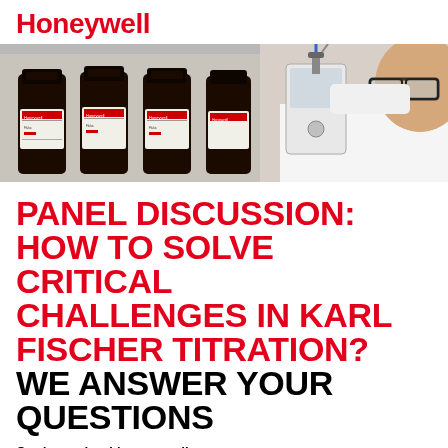Honeywell
[Figure (photo): Laboratory scene showing dark amber glass reagent bottles with Honeywell labels on the left side, and a scientist in a white lab coat and safety glasses working with Karl Fischer titration equipment on the right side.]
PANEL DISCUSSION: HOW TO SOLVE CRITICAL CHALLENGES IN KARL FISCHER TITRATION? WE ANSWER YOUR QUESTIONS
On-demand webinar recording
Do you have issues with your Karl Fischer (KF) titration? Are you analyzing any challenging samples? We are here